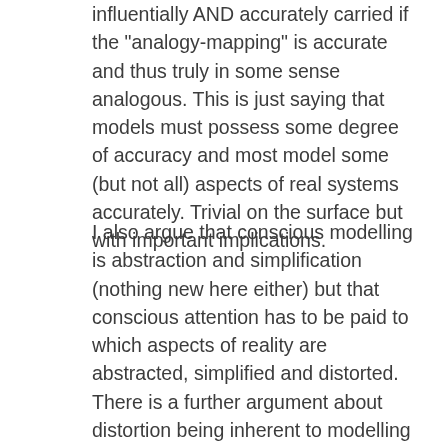influentially AND accurately carried if the "analogy-mapping" is accurate and thus truly in some sense analogous. This is just saying that models must possess some degree of accuracy and most model some (but not all) aspects of real systems accurately. Trivial on the surface but with important implications.
I also argue that conscious modelling is abstraction and simplification (nothing new here either) but that conscious attention has to be paid to which aspects of reality are abstracted, simplified and distorted. There is a further argument about distortion being inherent to modelling and thus one must consciously advance good supportable reasons for accepting or even designing some distortions to exclude others and so on.